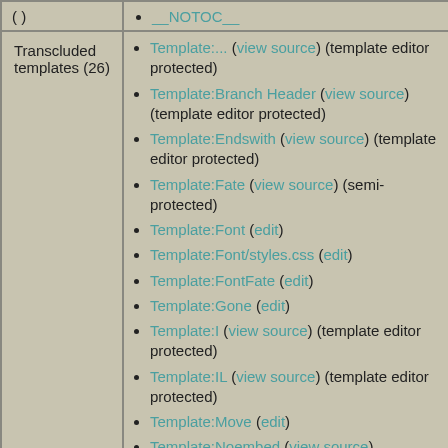| (top row partial) | • __NOTOC__ |
| Transcluded templates (26) | • Template:... (view source) (template editor protected)
• Template:Branch Header (view source) (template editor protected)
• Template:Endswith (view source) (template editor protected)
• Template:Fate (view source) (semi-protected)
• Template:Font (edit)
• Template:Font/styles.css (edit)
• Template:FontFate (edit)
• Template:Gone (edit)
• Template:I (view source) (template editor protected)
• Template:IL (view source) (template editor protected)
• Template:Move (edit)
• Template:Noembed (view source) |